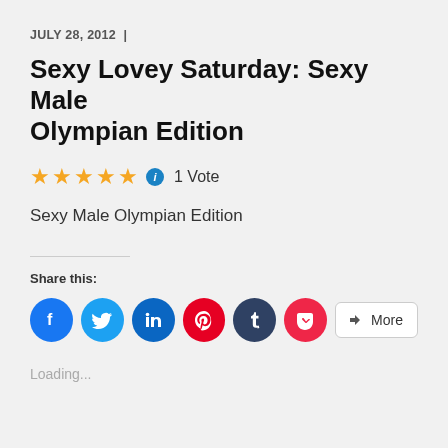JULY 28, 2012  |
Sexy Lovey Saturday: Sexy Male Olympian Edition
★★★★★ i  1 Vote
Sexy Male Olympian Edition
Share this:
[Figure (other): Social share buttons: Facebook, Twitter, LinkedIn, Pinterest, Tumblr, Pocket, More]
Loading...